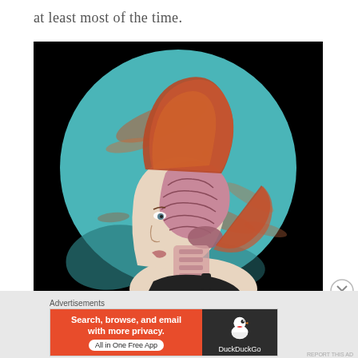at least most of the time.
[Figure (illustration): Surrealist painting of a woman in profile view with red/auburn hair styled up, showing an anatomical cross-section of the brain and neck/spine visible through the skull. The background is a large teal/turquoise circular globe-like form with rust/orange swirling patterns. The woman wears a black top. The overall style is detailed oil painting with surrealist anatomical elements.]
Advertisements
[Figure (infographic): DuckDuckGo advertisement banner. Left side orange/red background with bold white text: 'Search, browse, and email with more privacy.' Below that a white pill button reading 'All in One Free App'. Right side dark background with DuckDuckGo duck logo and 'DuckDuckGo' text in white.]